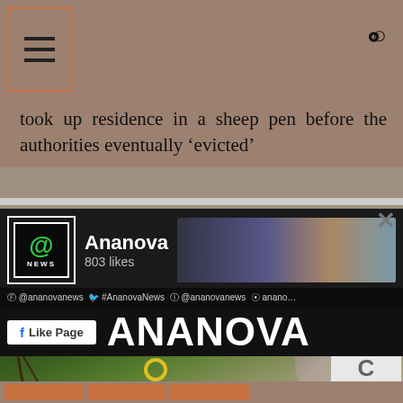Ananova News - menu and search header
took up residence in a sheep pen before the authorities eventually 'evicted'
[Figure (screenshot): Facebook Like Page popup for Ananova News with logo, 803 likes, social handles (@anananovanews, #AnanovaNews, @ananovanews), ANANOVA text, and Like Page button. Close (x) button top right.]
[Figure (photo): Photo of pine/fir tree branches with red and yellow decorations, with an animal (possibly a sloth or bear) in the background]
Privacy - Terms